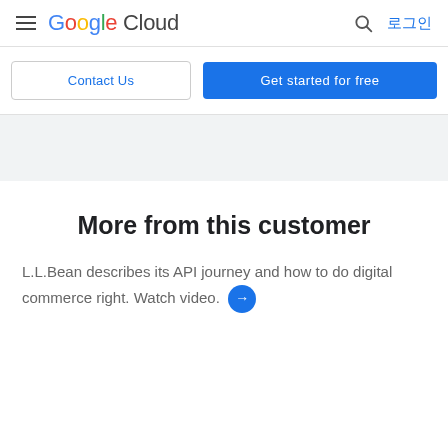Google Cloud — 로그인
Contact Us | Get started for free
More from this customer
L.L.Bean describes its API journey and how to do digital commerce right. Watch video.